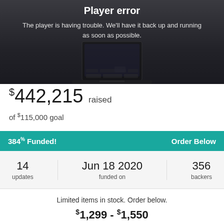[Figure (screenshot): Player error screen showing a laptop image on dark background with error message]
Player error
The player is having trouble. We'll have it back up and running as soon as possible.
$442,215 raised
of $115,000 goal
384% Funded!
Order Below
14 updates
Jun 18 2020 funded on
356 backers
Limited items in stock. Order below.
$1,299 - $1,550